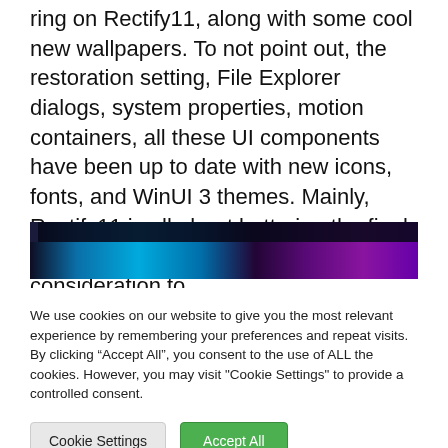ring on Rectify11, along with some cool new wallpapers. To not point out, the restoration setting, File Explorer dialogs, system properties, motion containers, all these UI components have been up to date with new icons, fonts, and WinUI 3 themes. Mainly, Rectify11 is all about bettering the final bit that Microsoft has not given a lot consideration to.
[Figure (screenshot): Screenshot of a Windows taskbar with a colorful purple and blue abstract wallpaper visible behind it.]
We use cookies on our website to give you the most relevant experience by remembering your preferences and repeat visits. By clicking “Accept All”, you consent to the use of ALL the cookies. However, you may visit "Cookie Settings" to provide a controlled consent.